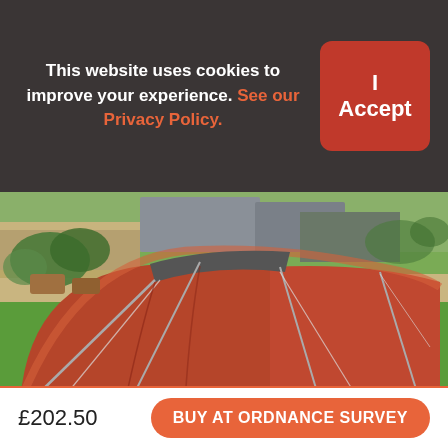This website uses cookies to improve your experience. See our Privacy Policy.
I Accept
[Figure (photo): A large red tunnel tent pitched on a green lawn in a garden setting, with grey poles and guy ropes visible. Garden plants and a wooden bench are visible in the background.]
£202.50
BUY AT ORDNANCE SURVEY